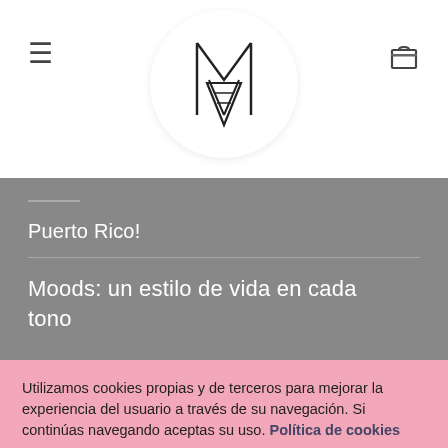[Figure (logo): Circular logo with geometric LV/M monogram mark in black lines on white circle background]
Puerto Rico!
Moods: un estilo de vida en cada tono
Utilizamos cookies propias y de terceros para mejorar la experiencia del usuario a través de su navegación. Si continúas navegando aceptas su uso. Política de cookies
ACEPTAR
CONFIGURACIÓN